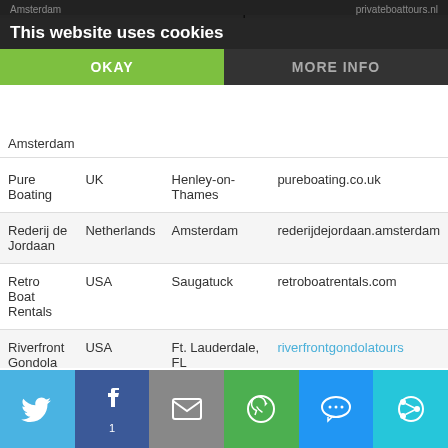Newport Beach   ocboatrental.com
This website uses cookies
OKAY   MORE INFO
Amsterdam      privateboattours.nl
|  |  |  |  |
| --- | --- | --- | --- |
| Pure Boating | UK | Henley-on-Thames | pureboating.co.uk |
| Rederij de Jordaan | Netherlands | Amsterdam | rederijdejordaan.amsterdam |
| Retro Boat Rentals | USA | Saugatuck | retroboatrentals.com |
| Riverfront Gondola Tours | USA | Ft. Lauderdale, FL | riverfrontgondolatours |
| SeaZen | France | Nice | seazen.fr |
| Silent-Yachts | Austria | Magdalensberg | silent-yachts.com |
[Figure (infographic): Social share bar with Twitter, Facebook, Email, WhatsApp, SMS, and More buttons. Facebook shows count of 1.]